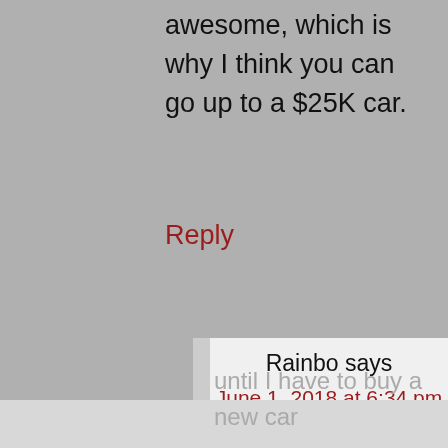awesome, which is why I think you can go up to a $25K car.
Reply
Rainbo says
June 1, 2018 at 6:34 pm
Thanks for the advice! The good part of this annual benefit is that I can pocket the $6k if my car is paid off – I can just take the money and invest it if I want to
until I have to buy a new car